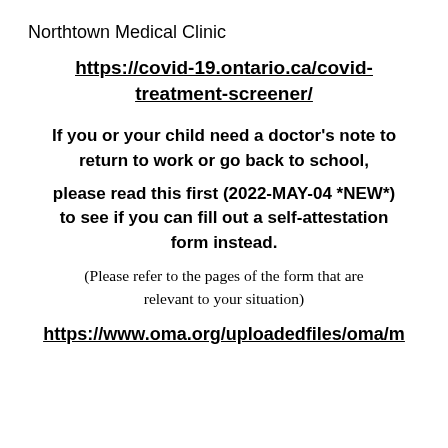Northtown Medical Clinic
https://covid-19.ontario.ca/covid-treatment-screener/
If you or your child need a doctor's note to return to work or go back to school,
please read this first (2022-MAY-04 *NEW*) to see if you can fill out a self-attestation form instead.
(Please refer to the pages of the form that are relevant to your situation)
https://www.oma.org/uploadedfiles/oma/m